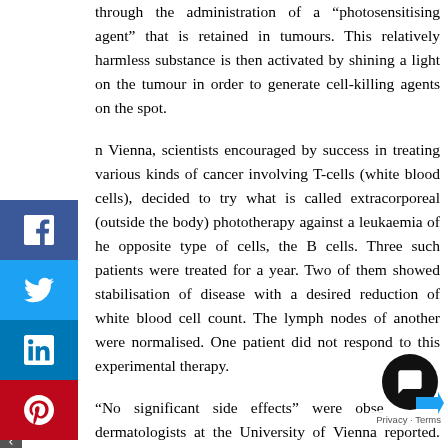through the administration of a “photosensitising agent” that is retained in tumours. This relatively harmless substance is then activated by shining a light on the tumour in order to generate cell-killing agents on the spot.
n Vienna, scientists encouraged by success in treating various kinds of cancer involving T-cells (white blood cells), decided to try what is called extracorporeal (outside the body) phototherapy against a leukaemia of he opposite type of cells, the B cells. Three such patients were treated for a year. Two of them showed stabilisation of disease with a desired reduction of white blood cell count. The lymph nodes of another were normalised. One patient did not respond to this experimental therapy.
“No significant side effects” were obse... dermatologists at the University of Vienna reported. ... treatment “may have a positive effect on the course” of